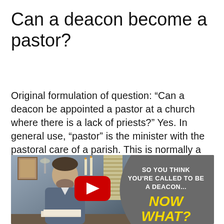Can a deacon become a pastor?
Original formulation of question: “Can a deacon be appointed a pastor at a church where there is a lack of priests?” Yes. In general use, “pastor” is the minister with the pastoral care of a parish. This is normally a priest (“parish priest”, cf.
[Figure (screenshot): YouTube video thumbnail showing a man sitting at a desk with text overlay: 'So you think you're called to be a deacon... NOW WHAT?' on a dark gray curved panel on the right side. A YouTube play button is visible in the center of the image.]